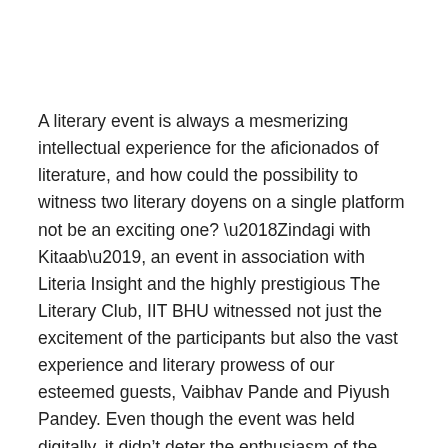A literary event is always a mesmerizing intellectual experience for the aficionados of literature, and how could the possibility to witness two literary doyens on a single platform not be an exciting one? ‘Zindagi with Kitaab’, an event in association with Literia Insight and the highly prestigious The Literary Club, IIT BHU witnessed not just the excitement of the participants but also the vast experience and literary prowess of our esteemed guests, Vaibhav Pande and Piyush Pandey. Even though the event was held digitally, it didn’t deter the enthusiasm of the participants who wanted to experience the journey of their favorite authors firsthand, directly coming from them without any filter.